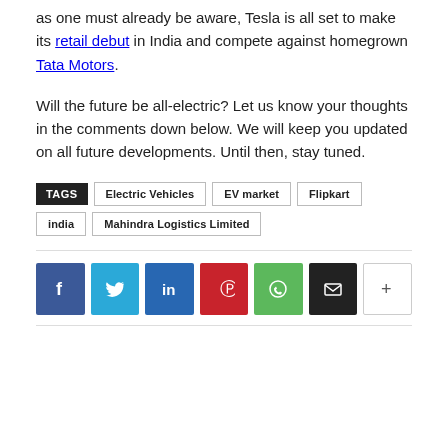as one must already be aware, Tesla is all set to make its retail debut in India and compete against homegrown Tata Motors.
Will the future be all-electric? Let us know your thoughts in the comments down below. We will keep you updated on all future developments. Until then, stay tuned.
TAGS: Electric Vehicles | EV market | Flipkart | india | Mahindra Logistics Limited
[Figure (other): Social share buttons: Facebook, Twitter, LinkedIn, Pinterest, WhatsApp, Email, More]